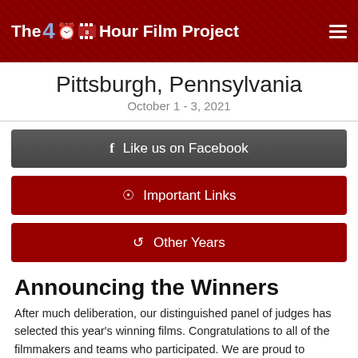The 48 Hour Film Project
Pittsburgh, Pennsylvania
October 1 - 3, 2021
f Like us on Facebook
Important Links
Other Years
Announcing the Winners
After much deliberation, our distinguished panel of judges has selected this year's winning films. Congratulations to all of the filmmakers and teams who participated. We are proud to announce our winners.
Kudos to Indieground Films for winning Best Film of 2021. Their film Murder Room, Inc will go on to represent